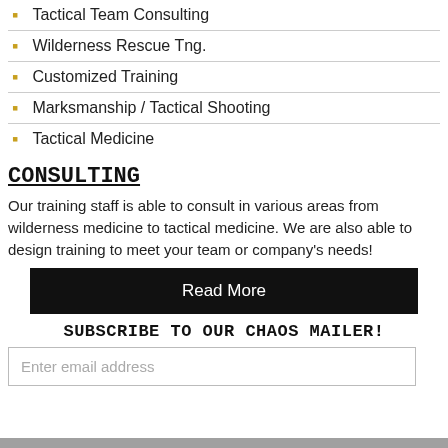Tactical Team Consulting
Wilderness Rescue Tng.
Customized Training
Marksmanship / Tactical Shooting
Tactical Medicine
CONSULTING
Our training staff is able to consult in various areas from wilderness medicine to tactical medicine. We are also able to design training to meet your team or company's needs!
Read More
SUBSCRIBE TO OUR CHAOS MAILER!
Enter email address